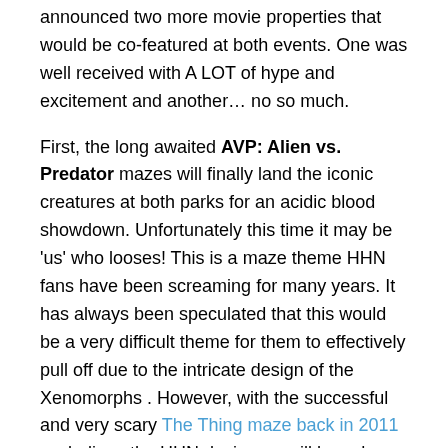announced two more movie properties that would be co-featured at both events. One was well received with A LOT of hype and excitement and another… no so much.
First, the long awaited AVP: Alien vs. Predator mazes will finally land the iconic creatures at both parks for an acidic blood showdown. Unfortunately this time it may be 'us' who looses! This is a maze theme HHN fans have been screaming for many years. It has always been speculated that this would be a very difficult theme for them to effectively pull off due to the intricate design of the Xenomorphs . However, with the successful and very scary The Thing maze back in 2011 we believe the HHN designers will have have it takes to design a very memorable maze for HHN and AVP fans. We actually think that of all the mazes announced so far, this one has potential to be one of the best of the season.